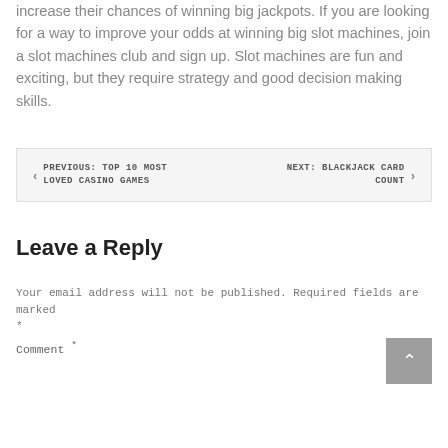increase their chances of winning big jackpots. If you are looking for a way to improve your odds at winning big slot machines, join a slot machines club and sign up. Slot machines are fun and exciting, but they require strategy and good decision making skills.
PREVIOUS: TOP 10 MOST LOVED CASINO GAMES    NEXT: BLACKJACK CARD COUNT
Leave a Reply
Your email address will not be published. Required fields are marked *
Comment *